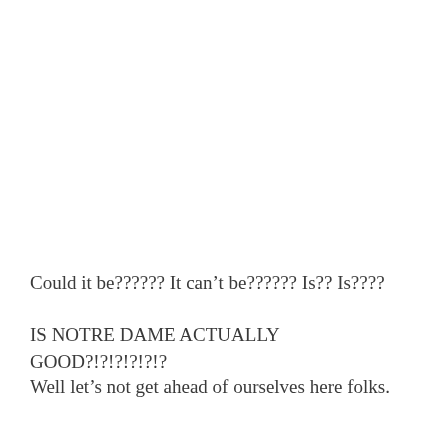Could it be?????? It can’t be?????? Is?? Is????
IS NOTRE DAME ACTUALLY GOOD?!?!?!?!?!?
Well let’s not get ahead of ourselves here folks.